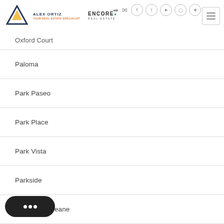Alex Ortiz | Encore Real Estate
Oxford Court
Paloma
Park Paseo
Park Place
Park Vista
Parkside
Parkside – Deane
Standard Pacific